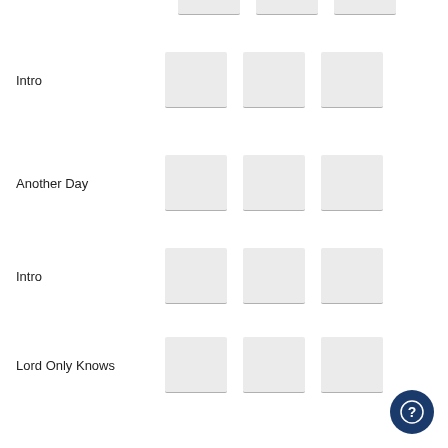| Track | Col1 | Col2 | Col3 |
| --- | --- | --- | --- |
| Intro |  |  |  |
| Another Day |  |  |  |
| Intro |  |  |  |
| Lord Only Knows |  |  |  |
| Ooh La La |  |  |  |
| Criminal |  |  |  |
| Keep On Going |  |  |  |